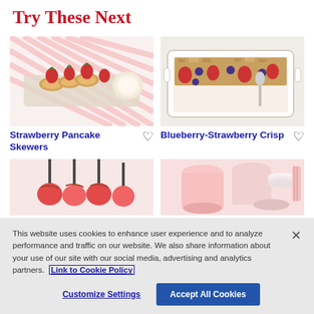Try These Next
[Figure (photo): Strawberry pancake skewers on a platter with a dipping sauce]
Strawberry Pancake Skewers
[Figure (photo): Blueberry-Strawberry Crisp in a white baking dish with a spoon]
Blueberry-Strawberry Crisp
[Figure (photo): Candy apples or chocolate-dipped skewers on a stand]
[Figure (photo): Pink strawberry dessert drink or smoothie in cups]
This website uses cookies to enhance user experience and to analyze performance and traffic on our website. We also share information about your use of our site with our social media, advertising and analytics partners. Link to Cookie Policy
Customize Settings
Accept All Cookies